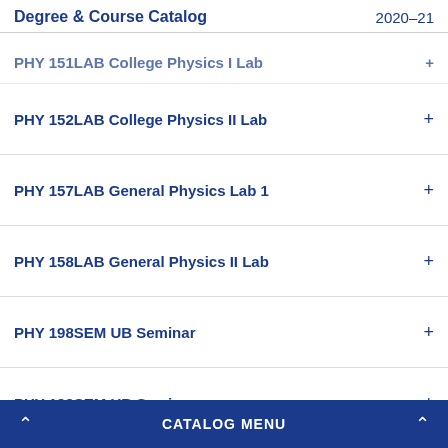Degree & Course Catalog 2020-21
PHY 151LAB College Physics I Lab +
PHY 152LAB College Physics II Lab +
PHY 157LAB General Physics Lab 1 +
PHY 158LAB General Physics II Lab +
PHY 198SEM UB Seminar +
PHY 199SEM UB Seminar +
PHY 207LR General Physics III
CATALOG MENU